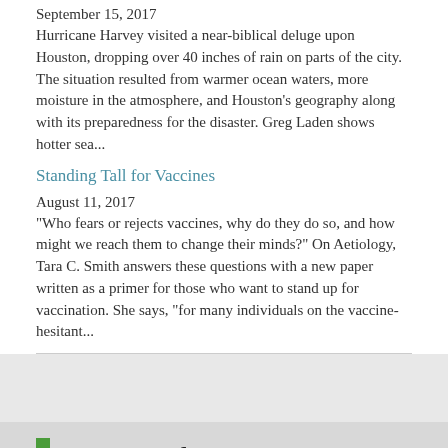September 15, 2017
Hurricane Harvey visited a near-biblical deluge upon Houston, dropping over 40 inches of rain on parts of the city. The situation resulted from warmer ocean waters, more moisture in the atmosphere, and Houston's geography along with its preparedness for the disaster. Greg Laden shows hotter sea...
Standing Tall for Vaccines
August 11, 2017
"Who fears or rejects vaccines, why do they do so, and how might we reach them to change their minds?" On Aetiology, Tara C. Smith answers these questions with a new paper written as a primer for those who want to stand up for vaccination. She says, "for many individuals on the vaccine-hesitant...
More reads
The Rarest Eclipse of Them All